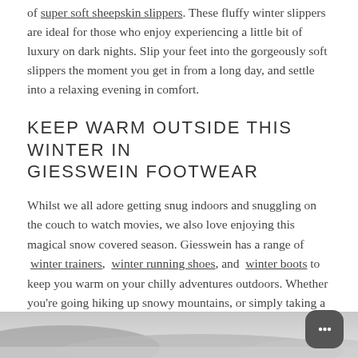of super soft sheepskin slippers. These fluffy winter slippers are ideal for those who enjoy experiencing a little bit of luxury on dark nights. Slip your feet into the gorgeously soft slippers the moment you get in from a long day, and settle into a relaxing evening in comfort.
KEEP WARM OUTSIDE THIS WINTER IN GIESSWEIN FOOTWEAR
Whilst we all adore getting snug indoors and snuggling on the couch to watch movies, we also love enjoying this magical snow covered season. Giesswein has a range of winter trainers, winter running shoes, and winter boots to keep you warm on your chilly adventures outdoors. Whether you're going hiking up snowy mountains, or simply taking a stroll alongside your local frosted river, we have the merino wool footwear for you!
[Figure (photo): Blurred winter/snow landscape photo at the bottom of the page, greyscale tones]